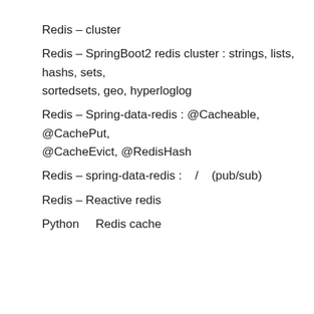Redis – cluster
Redis – SpringBoot2 redis cluster : strings, lists, hashs, sets, sortedsets, geo, hyperloglog
Redis – Spring-data-redis : @Cacheable, @CachePut, @CacheEvict, @RedisHash
Redis – spring-data-redis :    /    (pub/sub)
Redis – Reactive redis
Python     Redis cache